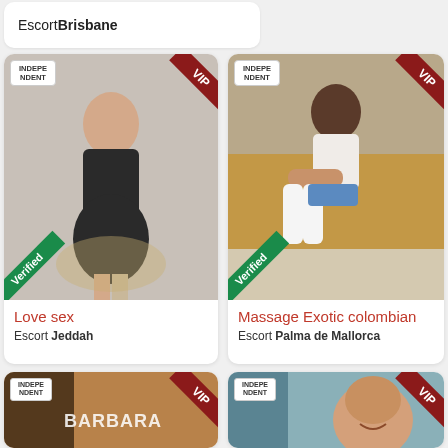Escort Brisbane
[Figure (photo): Woman in black lingerie posing on antique chair, VIP and Verified badges, Independent label]
Love sex
Escort Jeddah
[Figure (photo): Woman in white outfit and boots posing on gold sofa, VIP and Verified badges, Independent label]
Massage Exotic colombian
Escort Palma de Mallorca
[Figure (photo): Partial image of woman near door with BARBARA text, VIP badge, Independent label]
[Figure (photo): Asian woman smiling, VIP badge, Independent label]